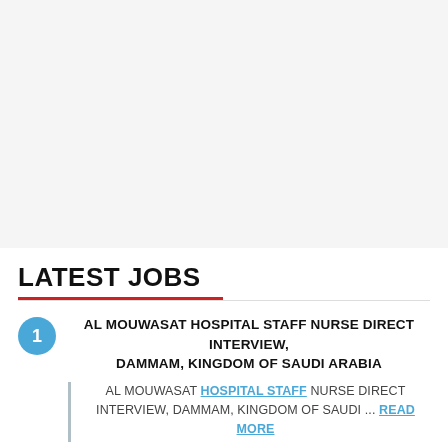LATEST JOBS
AL MOUWASAT HOSPITAL STAFF NURSE DIRECT INTERVIEW, DAMMAM, KINGDOM OF SAUDI ARABIA
AL MOUWASAT HOSPITAL STAFF NURSE DIRECT INTERVIEW, DAMMAM, KINGDOM OF SAUDI ... read more